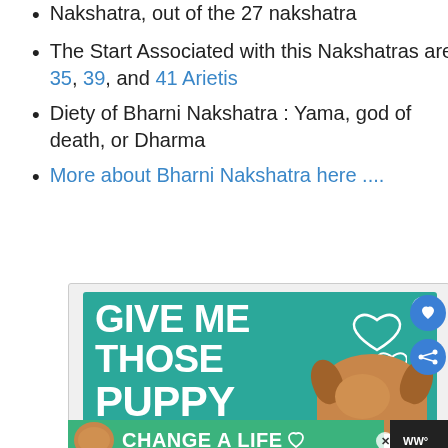Nakshatra, out of the 27 nakshatra
The Start Associated with this Nakshatras are 35, 39, and 41 Arietis
Diety of Bharni Nakshatra : Yama, god of death, or Dharma
More about Bharni Nakshatra here ....
[Figure (screenshot): Advertisement banner with teal background showing text 'GIVE ME THOSE PUPPY' with hearts and a dog photo, and a bottom bar with 'CHANGE A LIFE' text on green background]